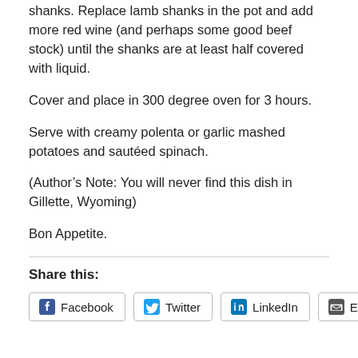shanks.  Replace lamb shanks in the pot and add more red wine (and perhaps some good beef stock) until the shanks are at least half covered with liquid.
Cover and place in 300 degree oven for 3 hours.
Serve with creamy polenta or garlic mashed potatoes and sautéed spinach.
(Author's Note:  You will never find this dish in Gillette, Wyoming)
Bon Appetite.
Share this:
Facebook  Twitter  LinkedIn  Email